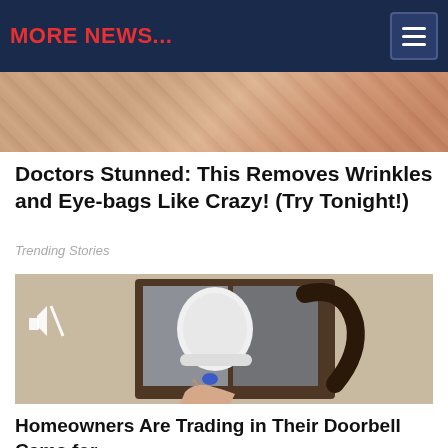MORE NEWS...
[Figure (photo): Close-up photo of skin/face area showing wrinkles, top image strip]
Doctors Stunned: This Removes Wrinkles and Eye-bags Like Crazy! (Try Tonight!)
Trending Stories
[Figure (photo): Video thumbnail showing a security/doorbell camera being installed into an outdoor lantern-style light fixture on a textured stucco wall. A hand is shown inserting the white camera device. A muted speaker icon is in the top-left corner.]
Homeowners Are Trading in Their Doorbell Cams for